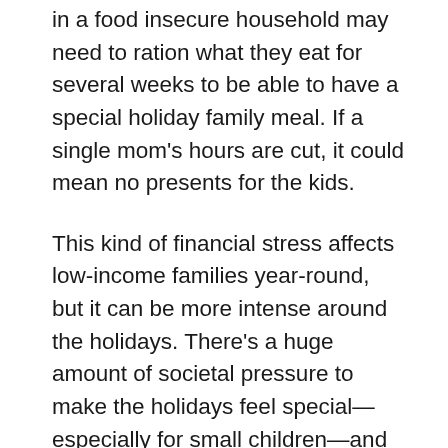in a food insecure household may need to ration what they eat for several weeks to be able to have a special holiday family meal. If a single mom's hours are cut, it could mean no presents for the kids.
This kind of financial stress affects low-income families year-round, but it can be more intense around the holidays. There's a huge amount of societal pressure to make the holidays feel special—especially for small children—and creating that feeling usually involves money.
Financial stress can trigger anxiety, which can affect every aspect of an individual's life and